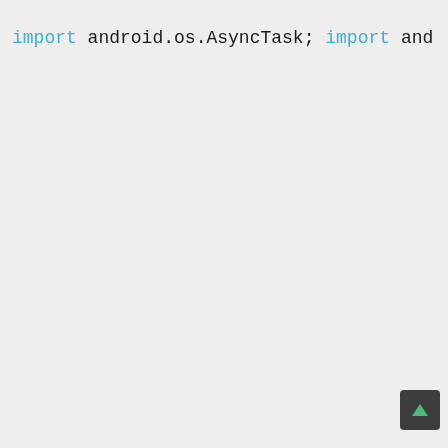[Figure (screenshot): Android Java source code snippet showing import statements and the beginning of a NetworkActivity class definition with private fields and an onCreate method override.]